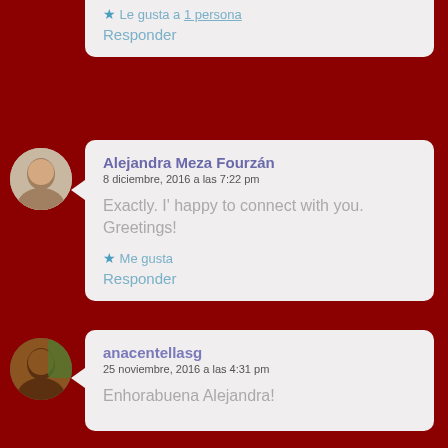Le gusta a 1 persona
Responder
Alejandra Meza Fourzán
8 diciembre, 2016 a las 7:22 pm
Exactly. I' happy to connect with you. Greetings!
Me gusta
Responder
anacentellasg
25 noviembre, 2016 a las 4:31 pm
Enhorabuena Alejandra!